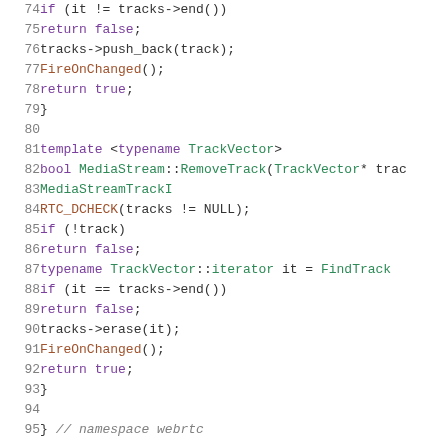Source code listing lines 74-95, C++ MediaStream implementation